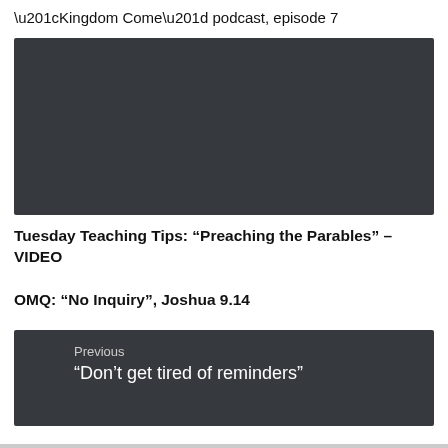“Kingdom Come” podcast, episode 7
[Figure (screenshot): Dark grey/charcoal video embed placeholder block]
Tuesday Teaching Tips: “Preaching the Parables” – VIDEO
OMQ: “No Inquiry”, Joshua 9.14
[Figure (screenshot): Dark navigation block showing Previous post: ‘Don’t get tired of reminders’ with a red arrow button and Send Voicemail bar]